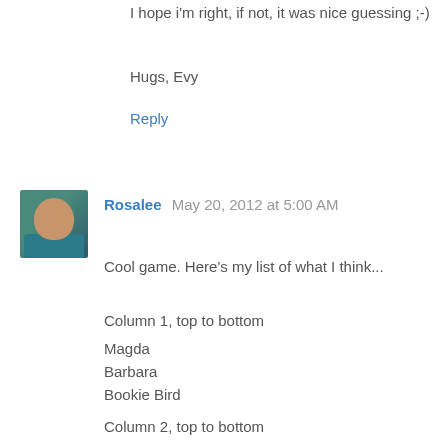I hope i'm right, if not, it was nice guessing ;-)
Hugs, Evy
Reply
Rosalee  May 20, 2012 at 5:00 AM
Cool game. Here's my list of what I think...
Column 1, top to bottom
Magda
Barbara
Bookie Bird
Column 2, top to bottom
Maria
Angela
Column 3, top to bottom
Barbara
Barbara
Christy